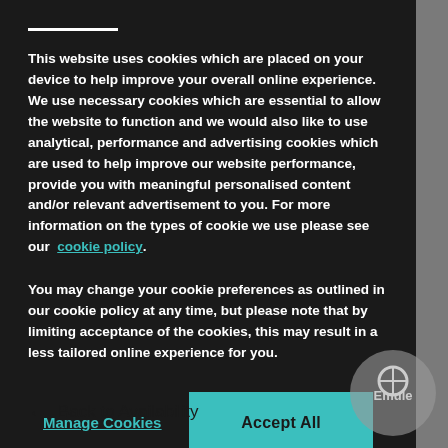This website uses cookies which are placed on your device to help improve your overall online experience. We use necessary cookies which are essential to allow the website to function and we would also like to use analytical, performance and advertising cookies which are used to help improve our website performance, provide you with meaningful personalised content and/or relevant advertisement to you. For more information on the types of cookie we use please see our cookie policy.
You may change your cookie preferences as outlined in our cookie policy at any time, but please note that by limiting acceptance of the cookies, this may result in a less tailored online experience for you.
Manage Cookies
Accept All
← Back to Availability